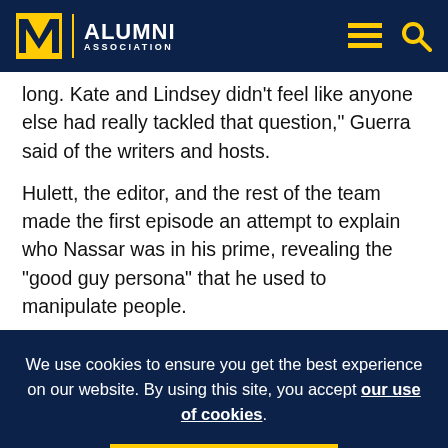M Alumni Association
long. Kate and Lindsey didn't feel like anyone else had really tackled that question," Guerra said of the writers and hosts.
Hulett, the editor, and the rest of the team made the first episode an attempt to explain who Nassar was in his prime, revealing the “good guy persona” that he used to manipulate people.
We use cookies to ensure you get the best experience on our website. By using this site, you accept our use of cookies.
I UNDERSTAND